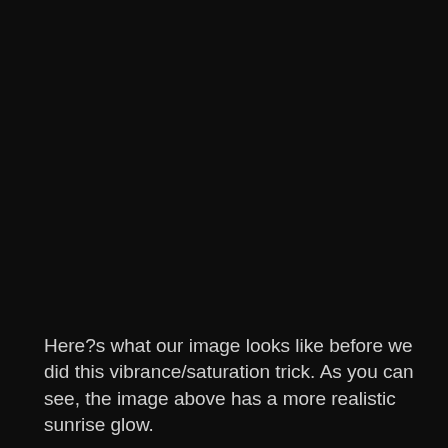p
[Figure (photo): Dark/black image showing a sunrise scene before vibrance/saturation adjustment was applied]
Here?s what our image looks like before we did this vibrance/saturation trick. As you can see, the image above has a more realistic sunrise glow.